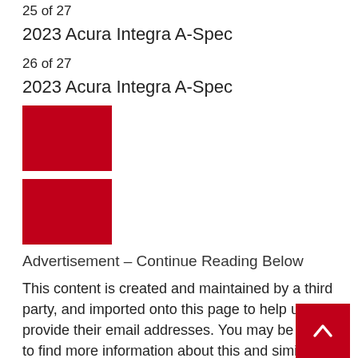25 of 27
2023 Acura Integra A-Spec
26 of 27
2023 Acura Integra A-Spec
[Figure (other): Red square image placeholder]
[Figure (other): Red square image placeholder]
Advertisement – Continue Reading Below
This content is created and maintained by a third party, and imported onto this page to help users provide their email addresses. You may be able to find more information about this and similar content at piano.io